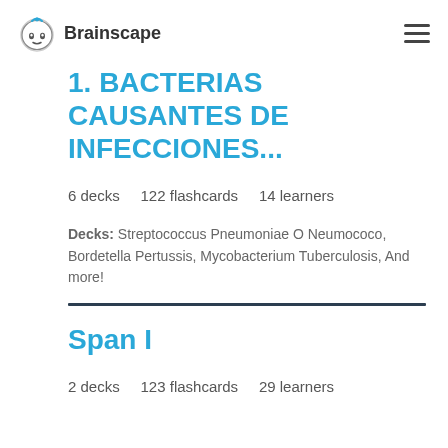Brainscape
1. BACTERIAS CAUSANTES DE INFECCIONES...
6 decks    122 flashcards    14 learners
Decks: Streptococcus Pneumoniae O Neumococo, Bordetella Pertussis, Mycobacterium Tuberculosis, And more!
Span I
2 decks    123 flashcards    29 learners